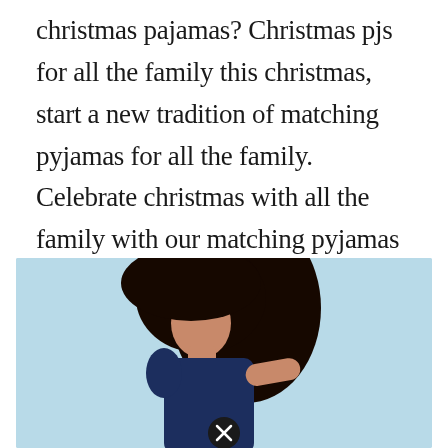christmas pajamas? Christmas pjs for all the family this christmas, start a new tradition of matching pyjamas for all the family. Celebrate christmas with all the family with our matching pyjamas designed for mums, dads and little ones. Discover our collection of boden christmas nightwear.
[Figure (photo): A woman with dark hair shown from behind/side, wearing a dark navy top, against a light blue background. A close/dismiss button (X in a circle) is visible at the bottom center of the image.]